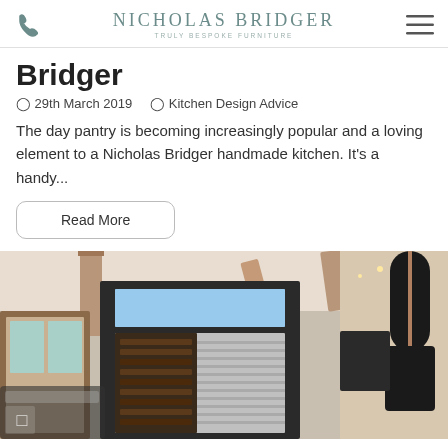Nicholas Bridger — Truly Bespoke Furniture
Bridger
🗓 29th March 2019    🏷 Kitchen Design Advice
The day pantry is becoming increasingly popular and a loving element to a Nicholas Bridger handmade kitchen. It's a handy...
Read More
[Figure (photo): Interior kitchen photo showing a large black-framed refrigerator/wine cooler unit with stainless steel appliances, wooden beam ceiling, a pendant lamp, and warm interior lighting.]